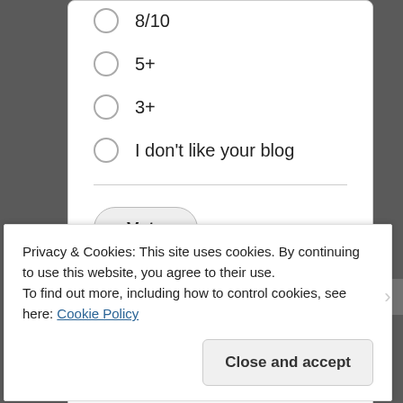8/10
5+
3+
I don't like your blog
Vote
View Results   Crowdsignal.com
Rate my blog out of 10
(polls)
Privacy & Cookies: This site uses cookies. By continuing to use this website, you agree to their use.
To find out more, including how to control cookies, see here: Cookie Policy
Close and accept